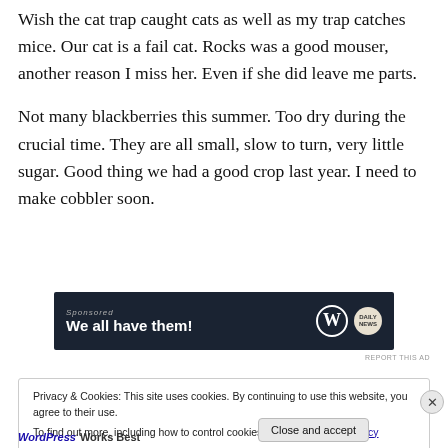Wish the cat trap caught cats as well as my trap catches mice. Our cat is a fail cat. Rocks was a good mouser, another reason I miss her. Even if she did leave me parts.
Not many blackberries this summer. Too dry during the crucial time. They are all small, slow to turn, very little sugar. Good thing we had a good crop last year. I need to make cobbler soon.
[Figure (screenshot): Advertisement banner with dark navy background showing text 'We all have them!' with WordPress and Daily News logos]
REPORT THIS AD
Privacy & Cookies: This site uses cookies. By continuing to use this website, you agree to their use.
To find out more, including how to control cookies, see here: Cookie Policy
Close and accept
WordPress Works Best